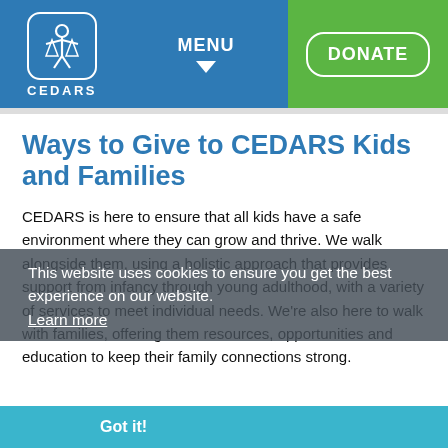[Figure (logo): CEDARS logo - figure with outstretched arms icon in rounded square border, with CEDARS text below]
MENU ▼
DONATE
Ways to Give to CEDARS Kids and Families
CEDARS is here to ensure that all kids have a safe environment where they can grow and thrive. We walk alongside them, using a holistic approach that provides support from infancy through young adulthood, with a variety of services to meet individual needs. We're also here to walk with families, offering them resources, opportunities and education to keep their family connections strong.
This website uses cookies to ensure you get the best experience on our website. Learn more  Got it!